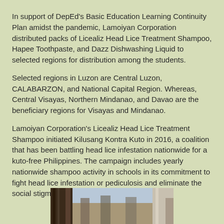In support of DepEd's Basic Education Learning Continuity Plan amidst the pandemic, Lamoiyan Corporation distributed packs of Licealiz Head Lice Treatment Shampoo, Hapee Toothpaste, and Dazz Dishwashing Liquid to selected regions for distribution among the students.
Selected regions in Luzon are Central Luzon, CALABARZON, and National Capital Region. Whereas, Central Visayas, Northern Mindanao, and Davao are the beneficiary regions for Visayas and Mindanao.
Lamoiyan Corporation's Licealiz Head Lice Treatment Shampoo initiated Kilusang Kontra Kuto in 2016, a coalition that has been battling head lice infestation nationwide for a kuto-free Philippines. The campaign includes yearly nationwide shampoo activity in schools in its commitment to fight head lice infestation or pediculosis and eliminate the social stigma associated with it.
[Figure (photo): Partial photo strip at the bottom of the page showing people in an outdoor setting]